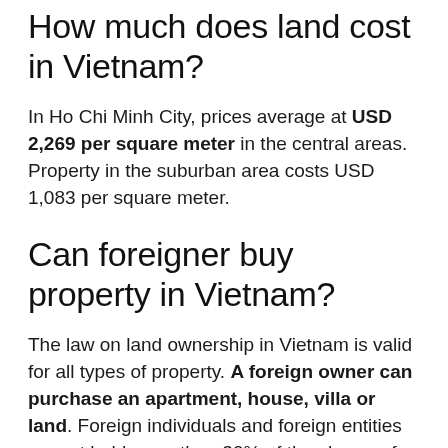How much does land cost in Vietnam?
In Ho Chi Minh City, prices average at USD 2,269 per square meter in the central areas. Property in the suburban area costs USD 1,083 per square meter.
Can foreigner buy property in Vietnam?
The law on land ownership in Vietnam is valid for all types of property. A foreign owner can purchase an apartment, house, villa or land. Foreign individuals and foreign entities cannot hold more than 30% of the shares of a building or more than 250 properties in the same district.